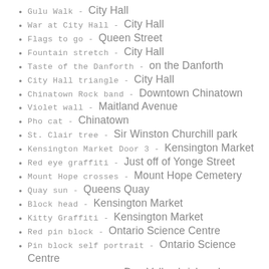Gulu Walk - City Hall
War at City Hall - City Hall
Flags to go - Queen Street
Fountain stretch - City Hall
Taste of the Danforth - on the Danforth
City Hall triangle - City Hall
Chinatown Rock band - Downtown Chinatown
Violet wall - Maitland Avenue
Pho cat - Chinatown
St. Clair tree - Sir Winston Churchill park
Kensington Market Door 3 - Kensington Market
Red eye graffiti - Just off of Yonge Street
Mount Hope crosses - Mount Hope Cemetery
Quay sun - Queens Quay
Block head - Kensington Market
Kitty Graffiti - Kensington Market
Red pin block - Ontario Science Centre
Pin block self portrait - Ontario Science Centre
Three Presidents - Don Valley brickworks
Brickworks scream - Don Valley brickworks
David is the ruler... - Don Valley brickworks
Tonys Billiards - Along Dufferin Ave
Pig warning - Riverdale Farm
Green. Duck. - Riverdale Farm
Bike lane. Not. - Downtown